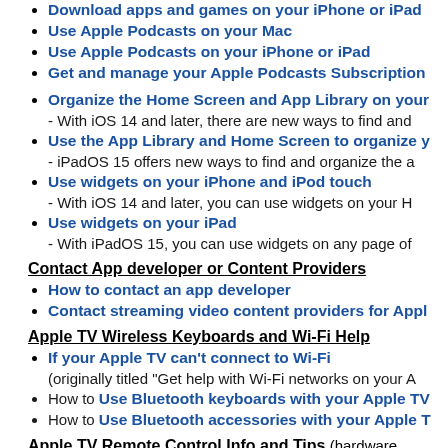Download apps and games on your iPhone or iPad
Use Apple Podcasts on your Mac
Use Apple Podcasts on your iPhone or iPad
Get and manage your Apple Podcasts Subscription
Organize the Home Screen and App Library on your... - With iOS 14 and later, there are new ways to find and...
Use the App Library and Home Screen to organize y... - iPadOS 15 offers new ways to find and organize the a...
Use widgets on your iPhone and iPod touch - With iOS 14 and later, you can use widgets on your H...
Use widgets on your iPad - With iPadOS 15, you can use widgets on any page of...
Contact App developer or Content Providers
How to contact an app developer
Contact streaming video content providers for Appl...
Apple TV Wireless Keyboards and Wi-Fi Help
If your Apple TV can't connect to Wi-Fi (originally titled "Get help with Wi-Fi networks on your A...
How to Use Bluetooth keyboards with your Apple TV...
How to Use Bluetooth accessories with your Apple T...
Apple TV Remote Control Info and Tips (hardware...